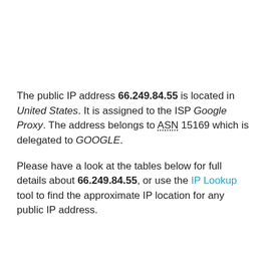The public IP address 66.249.84.55 is located in United States. It is assigned to the ISP Google Proxy. The address belongs to ASN 15169 which is delegated to GOOGLE.
Please have a look at the tables below for full details about 66.249.84.55, or use the IP Lookup tool to find the approximate IP location for any public IP address.